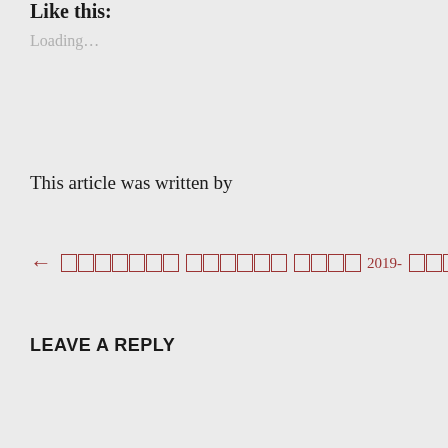Like this:
Loading...
This article was written by
← [tofu characters] 2019- [tofu characters]
LEAVE A REPLY